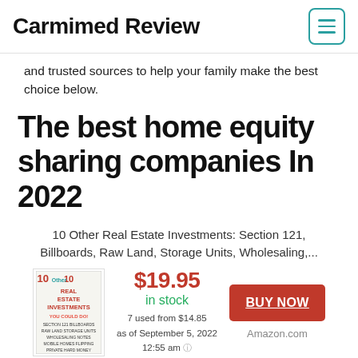Carmimed Review
and trusted sources to help your family make the best choice below.
The best home equity sharing companies In 2022
10 Other Real Estate Investments: Section 121, Billboards, Raw Land, Storage Units, Wholesaling,...
[Figure (other): Book cover: 10 Other Real Estate Investments with red and green text]
$19.95
in stock
7 used from $14.85
as of September 5, 2022
12:55 am
BUY NOW
Amazon.com